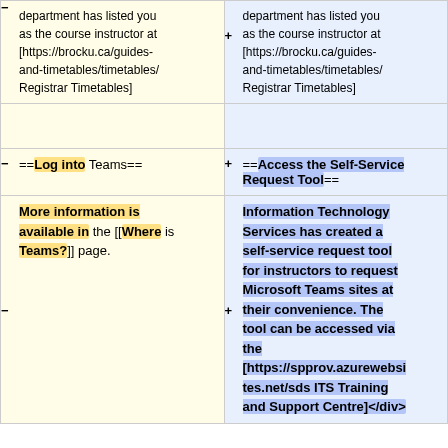department has listed you as the course instructor at [https://brocku.ca/guides-and-timetables/timetables/ Registrar Timetables]
must ensure that your department has listed you as the course instructor at [https://brocku.ca/guides-and-timetables/timetables/ Registrar Timetables]
==Log into Teams==
==Access the Self-Service Request Tool==
More information is available in the [[Where is Teams?]] page.
Information Technology Services has created a self-service request tool for instructors to request Microsoft Teams sites at their convenience. The tool can be accessed via the [https://spprov.azurewebsites.net/sds ITS Training and Support Centre]</div>